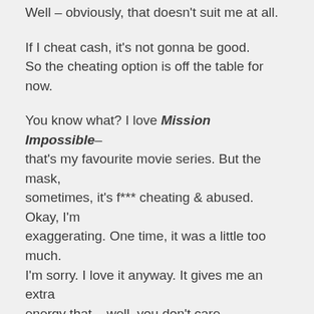Well – obviously, that doesn't suit me at all.
If I cheat cash, it's not gonna be good.
So the cheating option is off the table for now.
You know what? I love Mission Impossible– that's my favourite movie series. But the mask, sometimes, it's f*** cheating & abused. Okay, I'm exaggerating. One time, it was a little too much. I'm sorry. I love it anyway. It gives me an extra energy that – well, you don't care.
So I don't cheat too clearly.
If I'm a real bad guy – and I play risky – at the risk